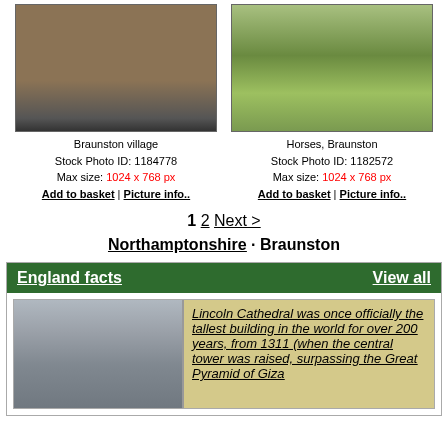[Figure (photo): Braunston village street scene with stone buildings]
Braunston village
Stock Photo ID: 1184778
Max size: 1024 x 768 px
Add to basket | Picture info..
[Figure (photo): Horses grazing in a green field near Braunston]
Horses, Braunston
Stock Photo ID: 1182572
Max size: 1024 x 768 px
Add to basket | Picture info..
1 2 Next >
Northamptonshire · Braunston
England facts
View all
[Figure (photo): Lincoln Cathedral exterior view]
Lincoln Cathedral was once officially the tallest building in the world for over 200 years, from 1311 (when the central tower was raised, surpassing the Great Pyramid of Giza